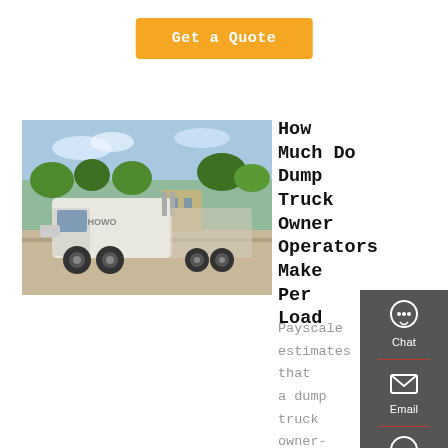Get a Quote
[Figure (photo): White dump truck / tractor-trailer cab parked outdoors, front-left view, trees and buildings in background]
How Much Do Dump Truck Owner Operators Make Per Load
Payscale estimates that a dump truck owner-operator can earn anywhere between $40,000 – $197,000. The longer one is a dump truck driver, the more likely one is to make a higher
[Figure (infographic): Dark grey sidebar with Chat, Email, Contact, and Top navigation icons]